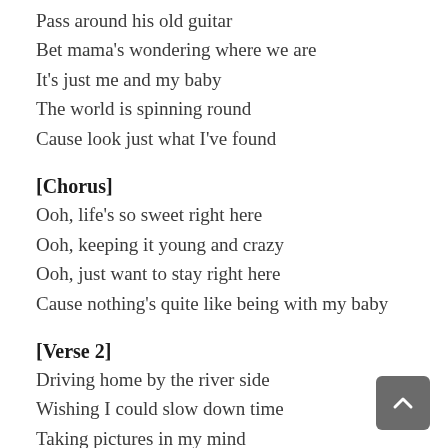Pass around his old guitar
Bet mama's wondering where we are
It's just me and my baby
The world is spinning round
Cause look just what I've found
[Chorus]
Ooh, life's so sweet right here
Ooh, keeping it young and crazy
Ooh, just want to stay right here
Cause nothing's quite like being with my baby
[Verse 2]
Driving home by the river side
Wishing I could slow down time
Taking pictures in my mind